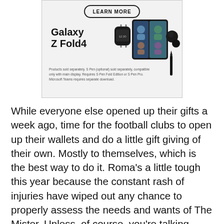[Figure (illustration): Samsung Galaxy Z Fold4 advertisement. Shows 'LEARN MORE' button, Galaxy Z Fold4 text, smartwatch, foldable phone with video call on screen, earbuds, S Pen stylus. Disclaimer text: 'Products sold separately. S Pen (optional) sold separately, compatible only with main display. Requires S Pen Fold Edition or S Pen Pro. Microsoft Teams requires separate download.']
While everyone else opened up their gifts a week ago, time for the football clubs to open up their wallets and do a little gift giving of their own. Mostly to themselves, which is the best way to do it. Roma's a little tough this year because the constant rash of injuries have wiped out any chance to properly assess the needs and wants of The Mister. Unless, of course, you're talking about a new medical staff - one preferably including Dr's House and/or Doogie.
A little run down of the major topics going in as we